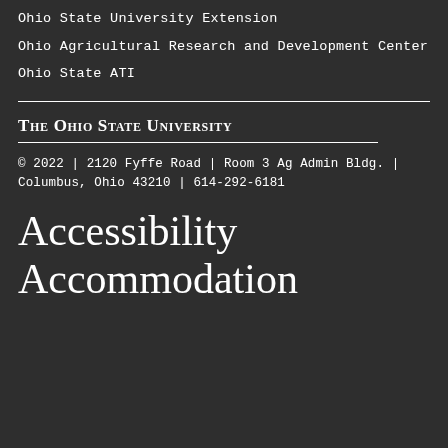Ohio State University Extension
Ohio Agricultural Research and Development Center
Ohio State ATI
© 2022 | 2120 Fyffe Road | Room 3 Ag Admin Bldg. | Columbus, Ohio 43210 | 614-292-6181
Accessibility Accommodation